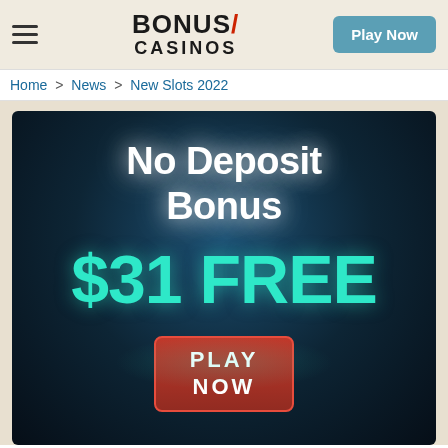BONUS/ CASINOS | Play Now
Home > News > New Slots 2022
[Figure (illustration): Casino promotional banner with dark blue background showing 'No Deposit Bonus $31 FREE' text in white and teal, with a red 'PLAY NOW' button at the bottom.]